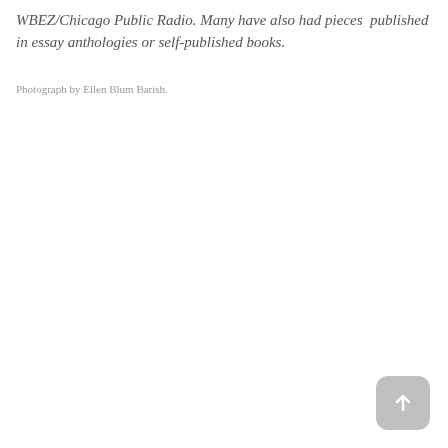WBEZ/Chicago Public Radio. Many have also had pieces published in essay anthologies or self-published books.
Photograph by Ellen Blum Barish.